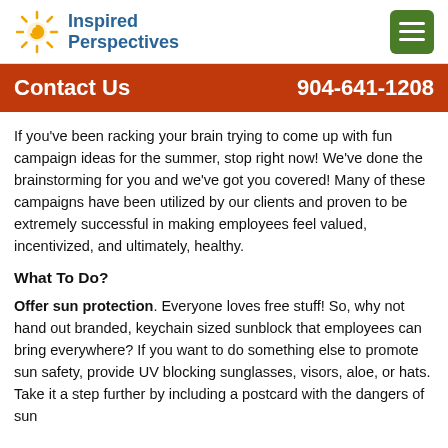Inspired Perspectives
Contact Us  904-641-1208
If you've been racking your brain trying to come up with fun campaign ideas for the summer, stop right now! We've done the brainstorming for you and we've got you covered! Many of these campaigns have been utilized by our clients and proven to be extremely successful in making employees feel valued, incentivized, and ultimately, healthy.
What To Do?
Offer sun protection. Everyone loves free stuff! So, why not hand out branded, keychain sized sunblock that employees can bring everywhere? If you want to do something else to promote sun safety, provide UV blocking sunglasses, visors, aloe, or hats. Take it a step further by including a postcard with the dangers of sun...